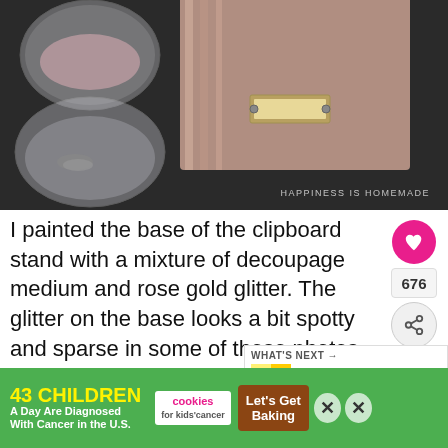[Figure (photo): Photo of a glitter-covered clipboard stand and craft supplies including a glass bowl with pink glitter on a dark surface. Watermark reads HAPPINESS IS HOMEMADE.]
I painted the base of the clipboard stand with a mixture of decoupage medium and rose gold glitter. The glitter on the base looks a bit spotty and sparse in some of these photos since it's kind of difficult to photograph, but I assure you that in real life there are five coats of glitter on this baby
[Figure (infographic): Ad banner: 43 CHILDREN A Day Are Diagnosed With Cancer in the U.S. — cookies for kids' cancer — Let's Get Baking]